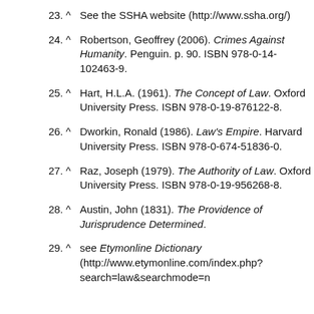23. ^ See the SSHA website (http://www.ssha.org/)
24. ^ Robertson, Geoffrey (2006). Crimes Against Humanity. Penguin. p. 90. ISBN 978-0-14-102463-9.
25. ^ Hart, H.L.A. (1961). The Concept of Law. Oxford University Press. ISBN 978-0-19-876122-8.
26. ^ Dworkin, Ronald (1986). Law's Empire. Harvard University Press. ISBN 978-0-674-51836-0.
27. ^ Raz, Joseph (1979). The Authority of Law. Oxford University Press. ISBN 978-0-19-956268-8.
28. ^ Austin, John (1831). The Providence of Jurisprudence Determined.
29. ^ see Etymonline Dictionary (http://www.etymonline.com/index.php?search=law&searchmode=n